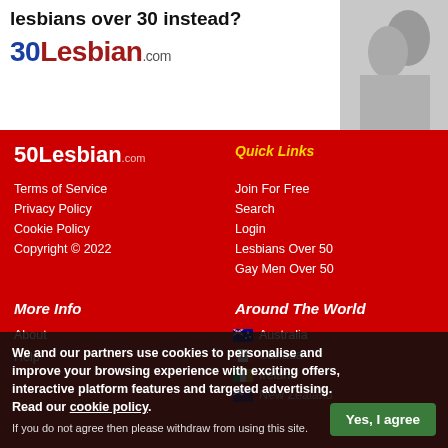Are you looking for single lesbians over 30 instead?
[Figure (illustration): 30Lesbian.com logo with black and white photo of two women in background]
50Lesbian.com
Quick Links
Terms of Service
Privacy Policy
Cookie Policy
Copyright © 2022
Join For Free
Search
Login
Lesbians Over 50
Gay Men Over 50
More Info
Around The World
About
Help
Australia
Canada
Ireland
New Zealand
United States
United Kingdom
South Africa
We and our partners use cookies to personalise and improve your browsing experience with exciting offers, interactive platform features and targeted advertising. Read our cookie policy.
If you do not agree then please withdraw from using this site.